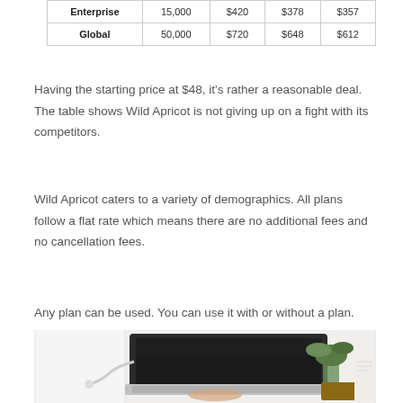| Enterprise | 15,000 | $420 | $378 | $357 |
| Global | 50,000 | $720 | $648 | $612 |
Having the starting price at $48, it's rather a reasonable deal. The table shows Wild Apricot is not giving up on a fight with its competitors.
Wild Apricot caters to a variety of demographics. All plans follow a flat rate which means there are no additional fees and no cancellation fees.
Any plan can be used. You can use it with or without a plan.
[Figure (photo): Overhead view of a person typing on a laptop at a white desk, with a green plant and a book visible on the right side.]